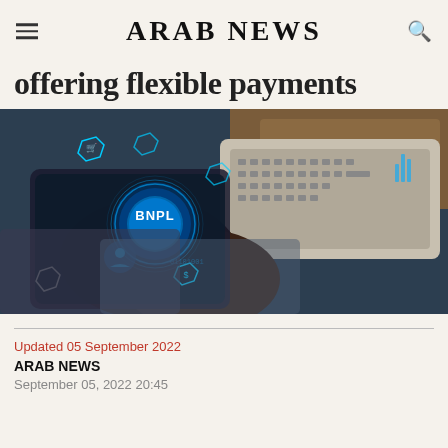ARAB NEWS
offering flexible payments
[Figure (photo): Person using a tablet/touchscreen interface displaying BNPL (Buy Now Pay Later) digital icons including shopping cart, currency symbols, and a glowing BNPL button, with a laptop keyboard in the background]
Updated 05 September 2022
ARAB NEWS
September 05, 2022 20:45